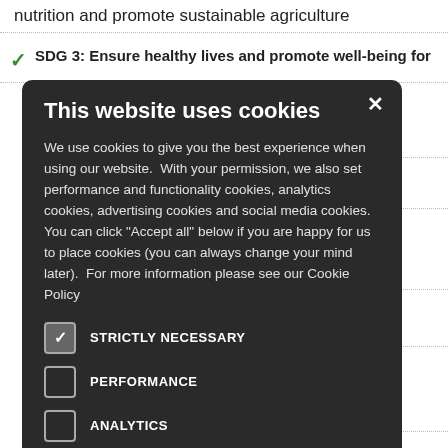nutrition and promote sustainable agriculture
SDG 3: Ensure healthy lives and promote well-being for
quality education ... ities for all
power all
ble ... or all
able,
d sustainable ... mployment and
[Figure (screenshot): Cookie consent modal dialog with dark background showing title 'This website uses cookies', descriptive text about cookie usage, and five checkbox options: STRICTLY NECESSARY (checked), PERFORMANCE (unchecked), ANALYTICS (unchecked), FUNCTIONALITY (unchecked), SOCIAL MEDIA (unchecked), with an X close button in top right.]